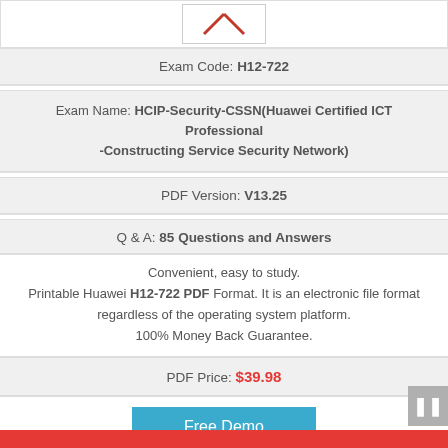[Figure (logo): Huawei logo or brand mark with red diagonal element on white background]
Exam Code: H12-722
Exam Name: HCIP-Security-CSSN(Huawei Certified ICT Professional -Constructing Service Security Network)
PDF Version: V13.25
Q & A: 85 Questions and Answers
Convenient, easy to study.
Printable Huawei H12-722 PDF Format. It is an electronic file format regardless of the operating system platform.
100% Money Back Guarantee.
PDF Price: $39.98
Free Demo